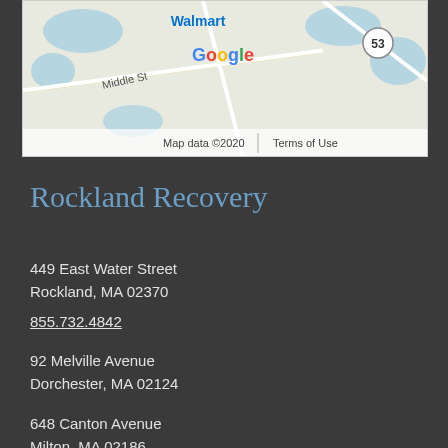[Figure (screenshot): Google Maps screenshot showing area around Rockland MA with Walmart label, Middle St, route 53, and Google/Map data ©2020 watermark]
Rockland Recovery
449 East Water Street
Rockland, MA 02370
855.732.4842
92 Melville Avenue
Dorchester, MA 02124
648 Canton Avenue
Milton, MA 02186